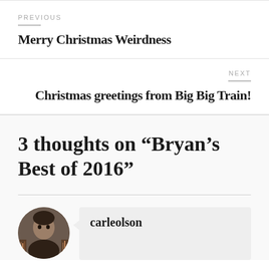PREVIOUS
Merry Christmas Weirdness
NEXT
Christmas greetings from Big Big Train!
3 thoughts on “Bryan’s Best of 2016”
carleolson